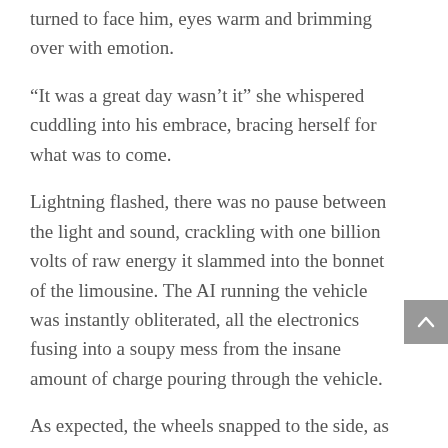turned to face him, eyes warm and brimming over with emotion.
“It was a great day wasn’t it” she whispered cuddling into his embrace, bracing herself for what was to come.
Lightning flashed, there was no pause between the light and sound, crackling with one billion volts of raw energy it slammed into the bonnet of the limousine. The AI running the vehicle was instantly obliterated, all the electronics fusing into a soupy mess from the insane amount of charge pouring through the vehicle.
As expected, the wheels snapped to the side, as always, the car rolled. The couple braced together eyes squeezed shut as the car flailed around them lancing them off the road and out into the abyss